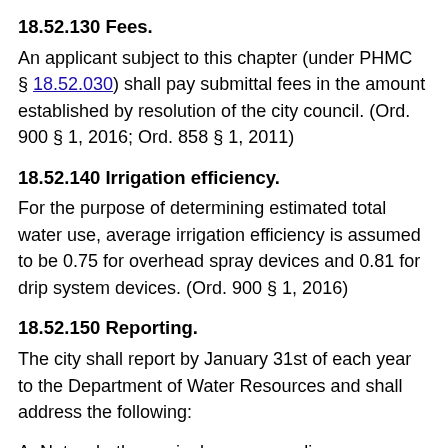18.52.130 Fees.
An applicant subject to this chapter (under PHMC § 18.52.030) shall pay submittal fees in the amount established by resolution of the city council. (Ord. 900 § 1, 2016; Ord. 858 § 1, 2011)
18.52.140 Irrigation efficiency.
For the purpose of determining estimated total water use, average irrigation efficiency is assumed to be 0.75 for overhead spray devices and 0.81 for drip system devices. (Ord. 900 § 1, 2016)
18.52.150 Reporting.
The city shall report by January 31st of each year to the Department of Water Resources and shall address the following:
A. Note whether a single agency ordinance or a regional